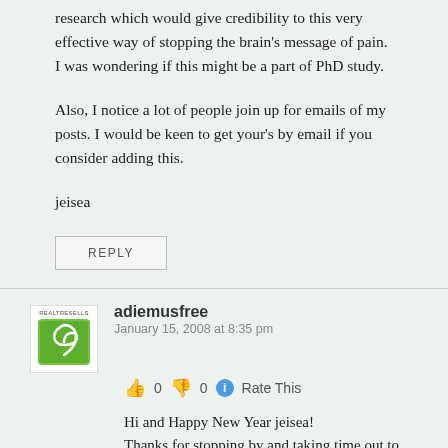research which would give credibility to this very effective way of stopping the brain's message of pain. I was wondering if this might be a part of PhD study.
Also, I notice a lot of people join up for emails of my posts. I would be keen to get your's by email if you consider adding this.
jeisea
REPLY
adiemusfree
January 15, 2008 at 8:35 pm
👍 0 👎 0 ℹ Rate This
Hi and Happy New Year jeisea!
Thanks for stopping by and taking time out to comment. Great idea to ask for sponsorship by Govt for this kind of therapy. David Butler is quite